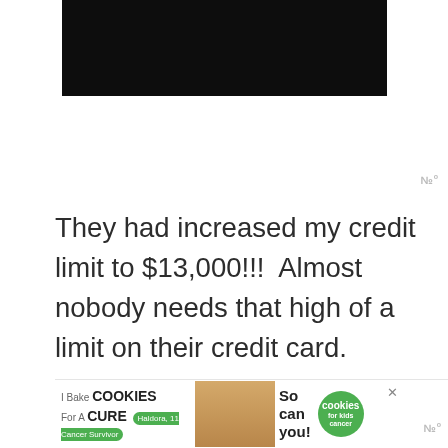[Figure (photo): Dark/black image area at top of page, partially visible, appears to be a video or photo content area]
They had increased my credit limit to $13,000!!!  Almost nobody needs that high of a limit on their credit card.
If your credit limit is high, it's easier to
[Figure (infographic): Advertisement banner: I Bake COOKIES For A CURE - Haldora, 11 Cancer Survivor - So can you! - cookies for kids cancer logo]